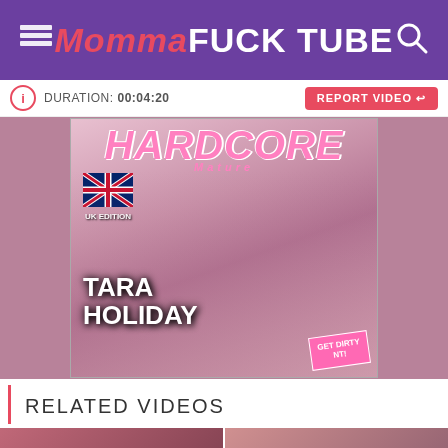MommaFUCK TUBE
DURATION: 00:04:20
REPORT VIDEO
[Figure (photo): Magazine cover showing 'HARDCORE' title in pink with UK Edition flag, woman in black dress smiling, text 'TARA HOLIDAY', pink badge reading 'GET DIRTY']
RELATED VIDEOS
[Figure (photo): Two video thumbnails at bottom, each showing duration 4:04 and 4:00]